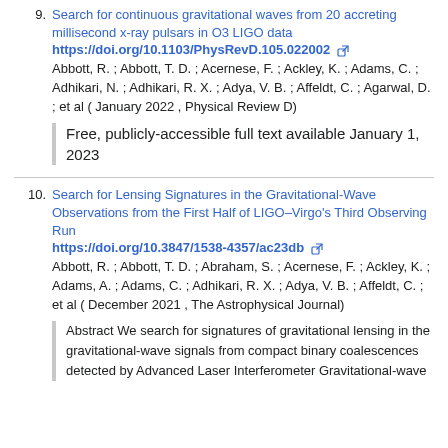9. Search for continuous gravitational waves from 20 accreting millisecond x-ray pulsars in O3 LIGO data https://doi.org/10.1103/PhysRevD.105.022002 Abbott, R. ; Abbott, T. D. ; Acernese, F. ; Ackley, K. ; Adams, C. ; Adhikari, N. ; Adhikari, R. X. ; Adya, V. B. ; Affeldt, C. ; Agarwal, D. ; et al ( January 2022 , Physical Review D)
Free, publicly-accessible full text available January 1, 2023
10. Search for Lensing Signatures in the Gravitational-Wave Observations from the First Half of LIGO–Virgo's Third Observing Run https://doi.org/10.3847/1538-4357/ac23db Abbott, R. ; Abbott, T. D. ; Abraham, S. ; Acernese, F. ; Ackley, K. ; Adams, A. ; Adams, C. ; Adhikari, R. X. ; Adya, V. B. ; Affeldt, C. ; et al ( December 2021 , The Astrophysical Journal)
Abstract We search for signatures of gravitational lensing in the gravitational-wave signals from compact binary coalescences detected by Advanced Laser Interferometer Gravitational-wave